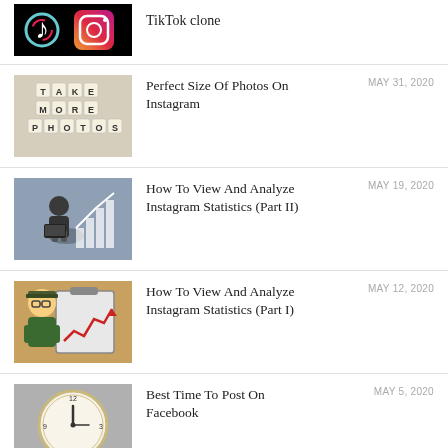TikTok clone
Perfect Size Of Photos On Instagram
How To View And Analyze Instagram Statistics (Part II)
How To View And Analyze Instagram Statistics (Part I)
Best Time To Post On Facebook